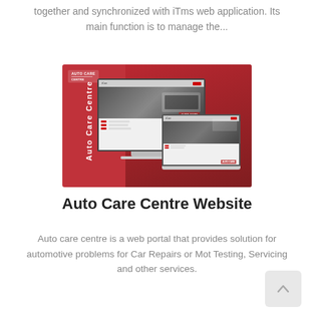together and synchronized with iTms web application. Its main function is to manage the...
[Figure (screenshot): Auto Care Centre website screenshot showing the web portal on a desktop monitor and laptop, with a red/dark themed design featuring a car image. Text 'Auto Care Centre' shown vertically on left side. AUTO CARE logo visible in top left corner.]
Auto Care Centre Website
Auto care centre is a web portal that provides solution for automotive problems for Car Repairs or Mot Testing, Servicing and other services.